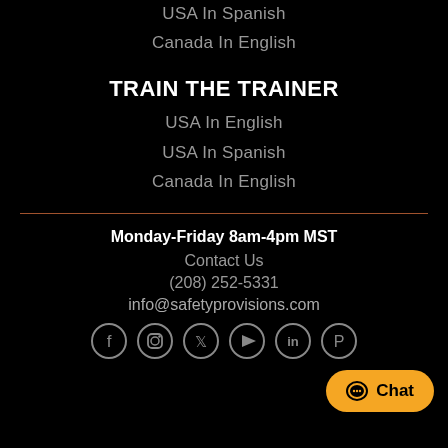USA In Spanish
Canada In English
TRAIN THE TRAINER
USA In English
USA In Spanish
Canada In English
Monday-Friday 8am-4pm MST
Contact Us
(208) 252-5331
info@safetyprovisions.com
[Figure (other): Social media icons row (Facebook, Instagram, Twitter, YouTube, LinkedIn, Pinterest) in circular grey borders]
[Figure (other): Orange chat button with speech bubble icon and text 'Chat']